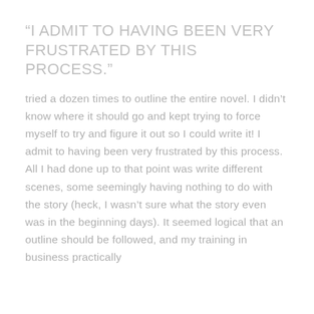“I ADMIT TO HAVING BEEN VERY FRUSTRATED BY THIS PROCESS.”
tried a dozen times to outline the entire novel. I didn’t know where it should go and kept trying to force myself to try and figure it out so I could write it! I admit to having been very frustrated by this process. All I had done up to that point was write different scenes, some seemingly having nothing to do with the story (heck, I wasn’t sure what the story even was in the beginning days). It seemed logical that an outline should be followed, and my training in business practically